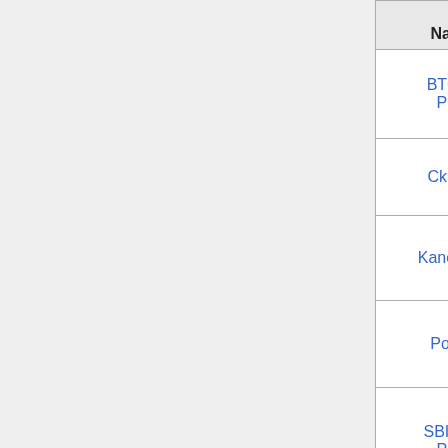| Name ▼ | to Bech32 ▼ | to Bech32m ▼ | (more) |
| --- | --- | --- | --- |
| BTC.com Pool | No | ?? | ... |
| Ckpool | Yes | ?? | ... |
| KanoPool | Yes | ?? | bi... so... |
| Poolin | Yes | ?? | bi... so... |
| SBICrypto Pool | Yes | Ready to release at activation | ... |
| Slush Pool | Yes | At activation | Tv... |
| Ukr Pool | Yes | ?? | bi... so... |
| ViaBTC Pool | No | ?? | ... |